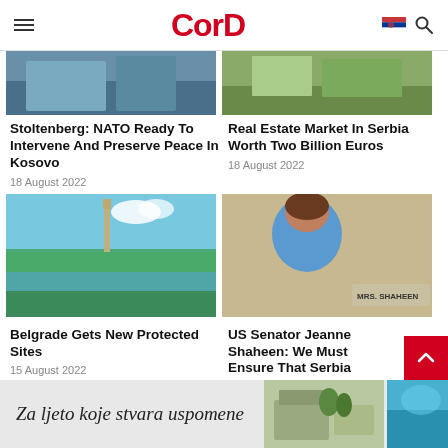CorD
[Figure (photo): Top-left news article photo (partially visible, blue tones)]
[Figure (photo): Top-right news article photo (partially visible, aerial/green tones)]
Stoltenberg: NATO Ready To Intervene And Preserve Peace In Kosovo
18 August 2022
Real Estate Market In Serbia Worth Two Billion Euros
18 August 2022
[Figure (photo): Belgrade fortress/Victor monument overlooking river confluence, blue sky]
[Figure (photo): US Senator Mrs. Shaheen in blue jacket at hearing]
Belgrade Gets New Protected Sites
15 August 2022
US Senator Jeanne Shaheen: We Must Ensure That Serbia Continues Towards The West Path
[Figure (photo): Advertisement banner: Za ljeto koje stvara uspomene, with house and pool images]